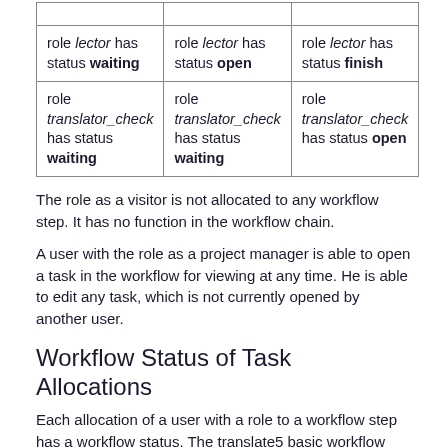|  |  |  |
| role lector has status waiting | role lector has status open | role lector has status finish |
| role translator_check has status waiting | role translator_check has status waiting | role translator_check has status open |
The role as a visitor is not allocated to any workflow step. It has no function in the workflow chain.
A user with the role as a project manager is able to open a task in the workflow for viewing at any time. He is able to edit any task, which is not currently opened by another user.
Workflow Status of Task Allocations
Each allocation of a user with a role to a workflow step has a workflow status. The translate5 basic workflow knows the following workflow statuses:
Open: The task can be currently processed by the user